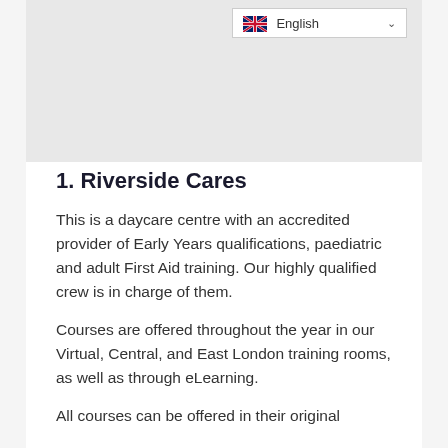[Figure (photo): Image placeholder area at top of page, light grey background]
1. Riverside Cares
This is a daycare centre with an accredited provider of Early Years qualifications, paediatric and adult First Aid training. Our highly qualified crew is in charge of them.
Courses are offered throughout the year in our Virtual, Central, and East London training rooms, as well as through eLearning.
All courses can be offered in their original